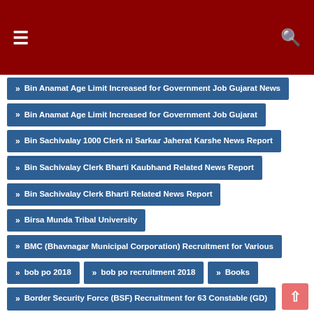Navigation header with hamburger menu and search icon
» Bin Anamat Age Limit Increased for Government Job Gujarat News
» Bin Anamat Age Limit Increased for Government Job Gujarat
» Bin Sachivalay 1000 Clerk ni Sarkar Jaherat Karshe News Report
» Bin Sachivalay Clerk Bharti Kaubhand Related News Report
» Bin Sachivalay Clerk Bharti Related News Report
» Birsa Munda Tribal University
» BMC (Bhavnagar Municipal Corporation) Recruitment for Various
» bob po 2018
» bob po recruitment 2018
» Books
» Border Security Force (BSF) Recruitment for 63 Constable (GD)
» Border Security Forces (BSF) Recruitment for 65 Constable Posts
» Boriavi Nagarpalika Recruitment for Clerk Posts 2018
» Boriavi Nagarpalika Recruitment for Social Organizer Post 2018